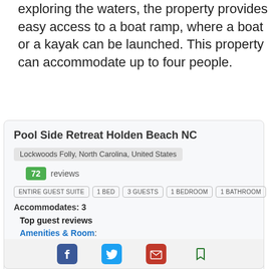exploring the waters, the property provides easy access to a boat ramp, where a boat or a kayak can be launched. This property can accommodate up to four people.
Pool Side Retreat Holden Beach NC
Lockwoods Folly, North Carolina, United States
72 reviews
ENTIRE GUEST SUITE | 1 BED | 3 GUESTS | 1 BEDROOM | 1 BATHROOM
Accommodates: 3
Top guest reviews
Amenities & Room:
the pool and backyard are super nice